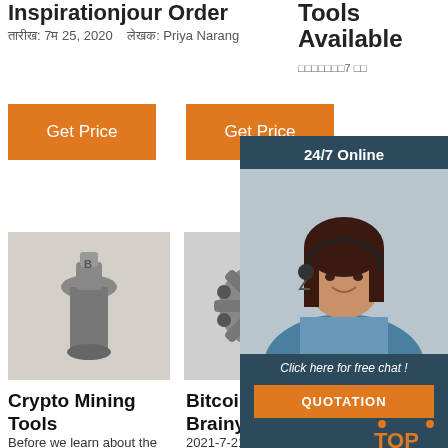Inspirationjour Order
तारीख: 7म 25, 2020   लेखक: Priya Narang
Tools Available
□□□□□□□7 □□
Get Price
Get Price
G
[Figure (infographic): Chat popup with woman wearing headset, dark blue background, '24/7 Online' header, 'Click here for free chat!' text and orange QUOTATION button]
[Figure (photo): Black and white photo of a metal mining drill bit tool]
[Figure (photo): Black and white photo of a round metal mining bit/cutter]
[Figure (photo): Partial photo of mining equipment]
Crypto Mining Tools
Before we learn about the bigges
Bitcoin Quotes - BrainyQuote
2021-7-21 · Cry
Bitcoin MinerTools
Bitcoin is a swar m of cyber borne